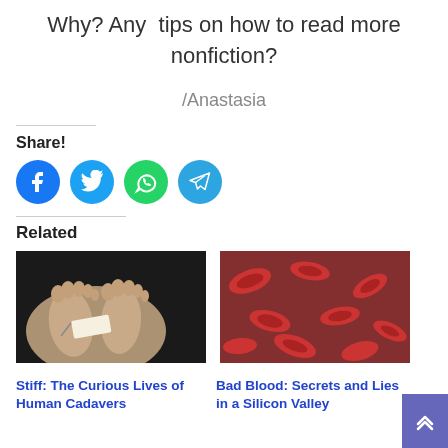Why? Any tips on how to read more nonfiction?
/Anastasia
Share!
[Figure (illustration): Social sharing icons: Facebook (blue circle), Twitter (light blue circle), WhatsApp (green circle), Telegram (blue circle)]
Related
[Figure (photo): Photo of human feet with a toe tag, representing a cadaver]
[Figure (photo): Microscopic image of red blood cells]
Stiff: The Curious Lives of Human Cadavers
Bad Blood: Secrets and Lies in a Silicon Valley